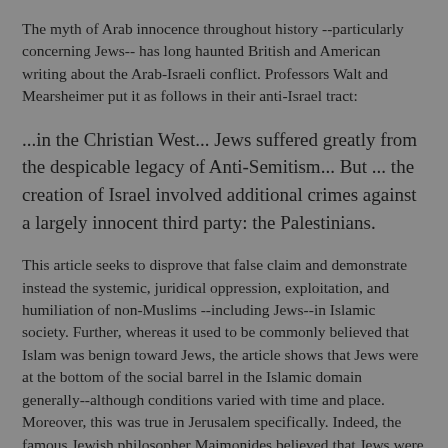The myth of Arab innocence throughout history --particularly concerning Jews-- has long haunted British and American writing about the Arab-Israeli conflict. Professors Walt and Mearsheimer put it as follows in their anti-Israel tract:
...in the Christian West... Jews suffered greatly from the despicable legacy of Anti-Semitism... But ... the creation of Israel involved additional crimes against a largely innocent third party: the Palestinians.
This article seeks to disprove that false claim and demonstrate instead the systemic, juridical oppression, exploitation, and humiliation of non-Muslims --including Jews--in Islamic society. Further, whereas it used to be commonly believed that Islam was benign toward Jews, the article shows that Jews were at the bottom of the social barrel in the Islamic domain generally--although conditions varied with time and place. Moreover, this was true in Jerusalem specifically. Indeed, the famous Jewish philosopher Maimonides believed that Jews were worse treated under Islam than in Christendom. He was in a position to compare conditions in both zones because he conducted correspondence with Jews in far flung places.